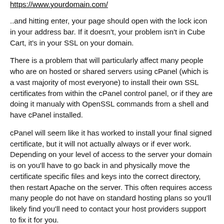https://www.yourdomain.com/
..and hitting enter, your page should open with the lock icon in your address bar. If it doesn't, your problem isn't in Cube Cart, it's in your SSL on your domain.
There is a problem that will particularly affect many people who are on hosted or shared servers using cPanel (which is a vast majority of most everyone) to install their own SSL certificates from within the cPanel control panel, or if they are doing it manualy with OpenSSL commands from a shell and have cPanel installed.
cPanel will seem like it has worked to install your final signed certificate, but it will not actually always or if ever work. Depending on your level of access to the server your domain is on you'll have to go back in and physically move the certificate specific files and keys into the correct directory, then restart Apache on the server. This often requires access many people do not have on standard hosting plans so you'll likely find you'll need to contact your host providers support to fix it for you.
No need to worry, if this is a problem for you, as long as you were able to create your csr file and get your actual certificate